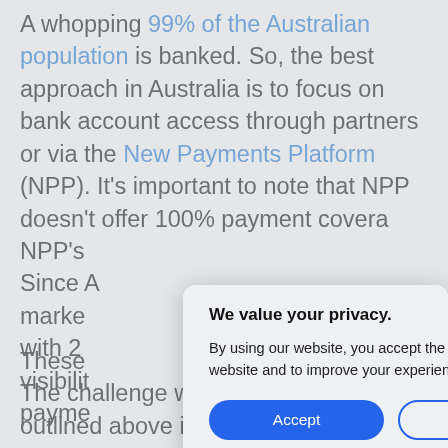A whopping 99% of the Australian population is banked. So, the best approach in Australia is to focus on bank account access through partners or via the New Payments Platform (NPP). It's important to note that NPP doesn't offer 100% payment covera… NPP's… Since A… marke… with 2… visibilit… payme…
[Figure (screenshot): Privacy cookie consent modal dialog overlaying article text. Title: 'We value your privacy.' Body: 'By using our website, you accept the terms of our privacy policy. We use cookies to understand how you use our website and to improve your experience. You can either "accept" or "decline" all cookies.' Two buttons: Accept (blue filled) and Decline (blue outlined).]
These… The challenge with all of the solutions outlined above is that they're difficult to